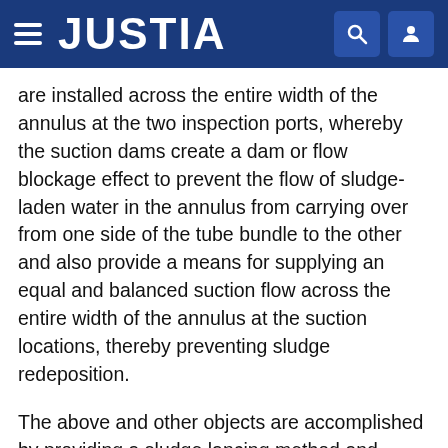JUSTIA
are installed across the entire width of the annulus at the two inspection ports, whereby the suction dams create a dam or flow blockage effect to prevent the flow of sludge-laden water in the annulus from carrying over from one side of the tube bundle to the other and also provide a means for supplying an equal and balanced suction flow across the entire width of the annulus at the suction locations, thereby preventing sludge redeposition.
The above and other objects are accomplished by providing a sludge lancing method and apparatus wherein two lances are simultaneously inserted through two lance ports located at 0.degree. and 180.degree. around the tube sheet, wherein specially designed suction dams are placed across the entire width of the annulus or peripheral lane at inspection ports located at